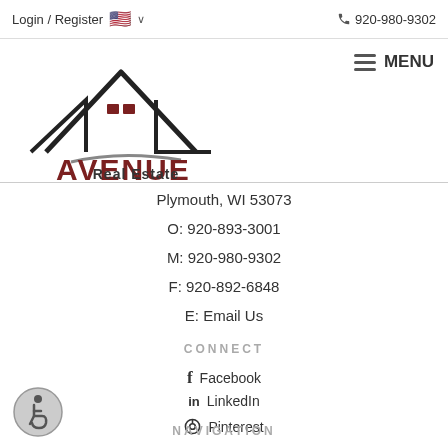Login / Register  🇺🇸 ∨        📞 920-980-9302
[Figure (logo): Avenue Real Estate logo with house rooftop silhouette and the text AVENUE Real Estate in dark red and black]
Plymouth, WI 53073
O: 920-893-3001
M: 920-980-9302
F: 920-892-6848
E: Email Us
CONNECT
f  Facebook
in  LinkedIn
Pinterest
YouTube
NAVIGATION
[Figure (illustration): Accessibility icon: a person in a wheelchair inside a grey circle]